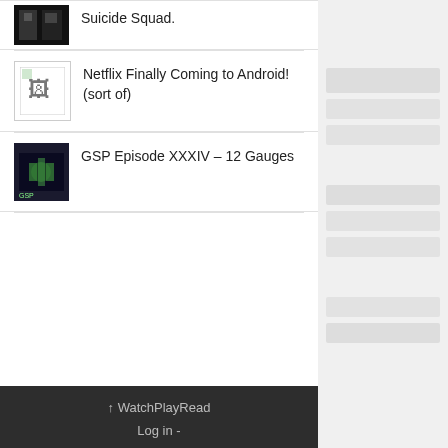Suicide Squad.
Netflix Finally Coming to Android! (sort of)
GSP Episode XXXIV – 12 Gauges
Contact Us
contact@watchplayread.com
↑ WatchPlayRead
Log in -